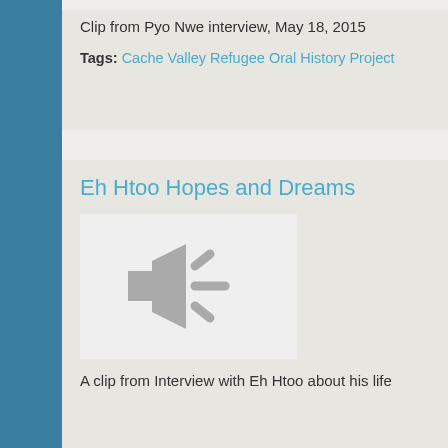Clip from Pyo Nwe interview, May 18, 2015
Tags: Cache Valley Refugee Oral History Project
Eh Htoo Hopes and Dreams
[Figure (illustration): Audio placeholder thumbnail showing a speaker/audio icon (gray loudspeaker with sound waves) on a light gray background]
A clip from Interview with Eh Htoo about his life